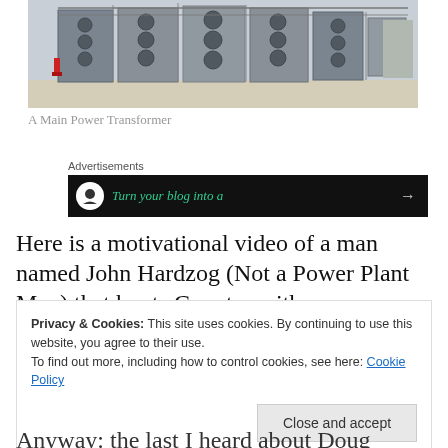[Figure (photo): Industrial power transformer units outdoors on a concrete pad, showing large grey metal equipment with cooling fans and structural framework]
A Main Power Transformer
Advertisements
[Figure (screenshot): Advertisement banner with dark background showing a circular icon and green italic text: Turn your blog into a [cut off], with a right arrow]
Here is a motivational video of a man named John Hardzog (Not a Power Plant Man) that hunts Coyotes with
Privacy & Cookies: This site uses cookies. By continuing to use this website, you agree to their use.
To find out more, including how to control cookies, see here: Cookie Policy
Anyway: the last I heard about Doug House was that he